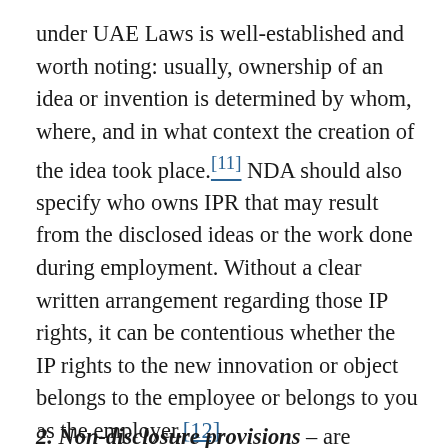under UAE Laws is well-established and worth noting: usually, ownership of an idea or invention is determined by whom, where, and in what context the creation of the idea took place.[11] NDA should also specify who owns IPR that may result from the disclosed ideas or the work done during employment. Without a clear written arrangement regarding those IP rights, it can be contentious whether the IP rights to the new innovation or object belongs to the employee or belongs to you as the employer.[12]
2. Non-disclosure provisions – are needed to